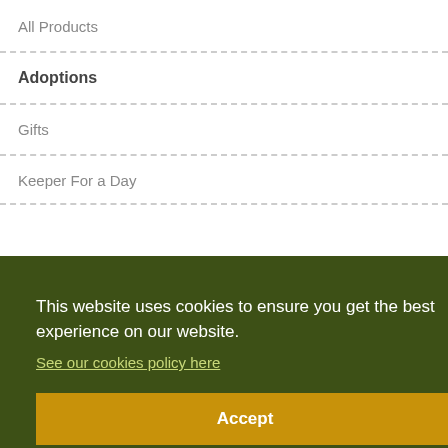All Products
Adoptions
Gifts
Keeper For a Day
This website uses cookies to ensure you get the best experience on our website. See our cookies policy here
Accept